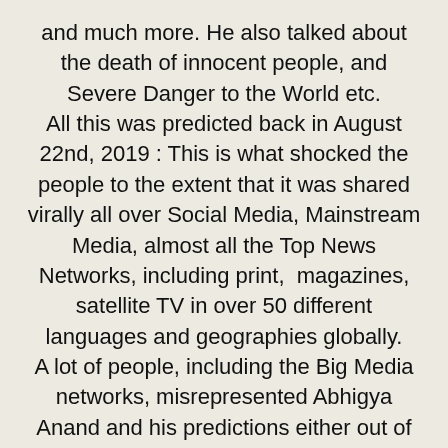and much more. He also talked about the death of innocent people, and Severe Danger to the World etc. All this was predicted back in August 22nd, 2019 : This is what shocked the people to the extent that it was shared virally all over Social Media, Mainstream Media, almost all the Top News Networks, including print,  magazines, satellite TV in over 50 different languages and geographies globally. A lot of people, including the Big Media networks, misrepresented Abhigya Anand and his predictions either out of misunderstanding, or on purpose. This website has been created so you have access to exactly what Abhigya has